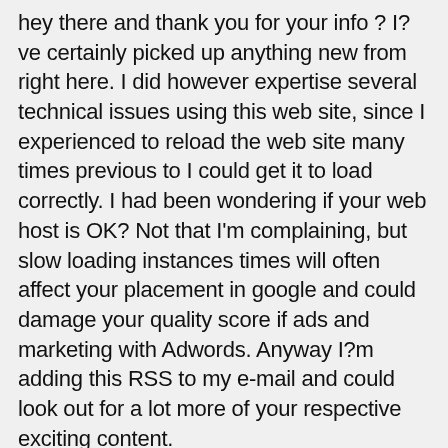hey there and thank you for your info ? I?ve certainly picked up anything new from right here. I did however expertise several technical issues using this web site, since I experienced to reload the web site many times previous to I could get it to load correctly. I had been wondering if your web host is OK? Not that I'm complaining, but slow loading instances times will often affect your placement in google and could damage your quality score if ads and marketing with Adwords. Anyway I?m adding this RSS to my e-mail and could look out for a lot more of your respective exciting content.